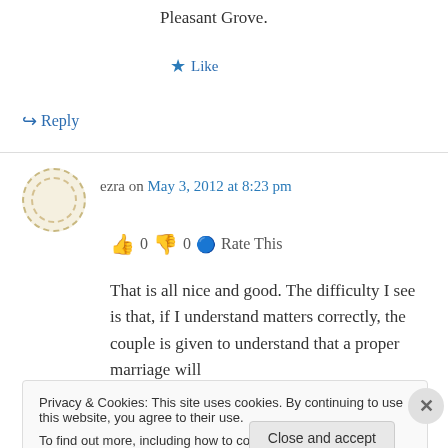Pleasant Grove.
★ Like
↪ Reply
ezra on May 3, 2012 at 8:23 pm
👍 0 👎 0 ℹ️ Rate This
That is all nice and good. The difficulty I see is that, if I understand matters correctly, the couple is given to understand that a proper marriage will
Privacy & Cookies: This site uses cookies. By continuing to use this website, you agree to their use. To find out more, including how to control cookies, see here: Cookie Policy